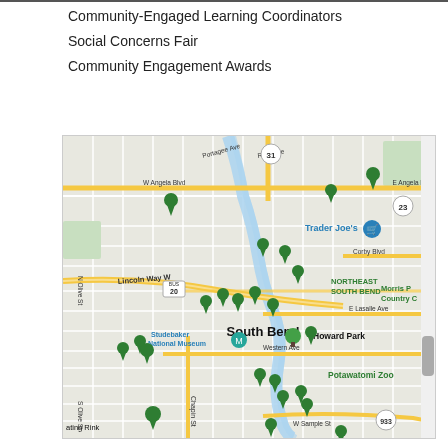Community-Engaged Learning Coordinators
Social Concerns Fair
Community Engagement Awards
[Figure (map): Google Maps view of South Bend, Indiana showing multiple green location pins marking community engagement sites. Notable landmarks visible include Trader Joe's, Studebaker National Museum, Howard Park, Potawatomi Zoo, and road labels such as Lincoln Way W, E Angela Blvd, W Angela Blvd, E Lasalle Ave, Western Ave, Chapin St, W Sample St, N Olive St, S Olive St, Corby Blvd, and route markers 31, 23, 20 BUS, 933.]